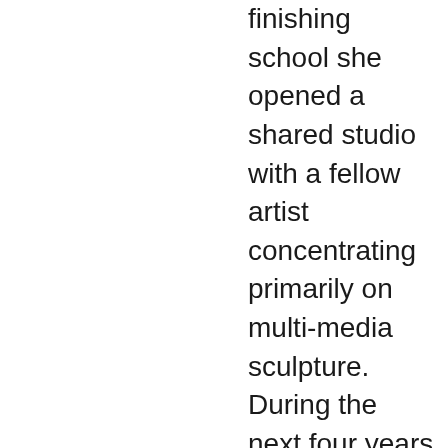finishing school she opened a shared studio with a fellow artist concentrating primarily on multi-media sculpture. During the next four years through exhibitions and private commissions Allison was able to focus her ideas related to the reframing of the banal. Her art-making strategies included removing the everyday object from its natural context, thereby allowing the viewer to